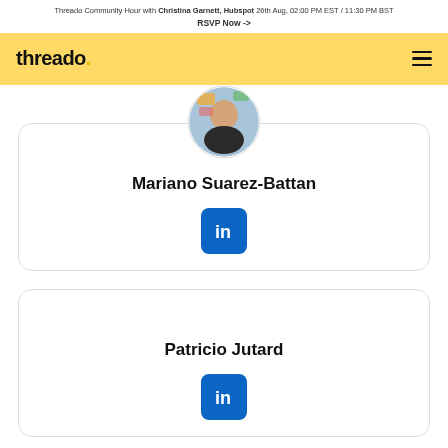Threado Community Hour with Christina Garnett, Hubspot 26th Aug, 02:00 PM EST / 11:30 PM BST
RSVP Now ->
[Figure (logo): Threado logo in yellow navigation bar with hamburger menu]
[Figure (photo): Circular profile photo of Mariano Suarez-Battan]
Mariano Suarez-Battan
[Figure (illustration): LinkedIn icon button]
Patricio Jutard
[Figure (illustration): LinkedIn icon button]